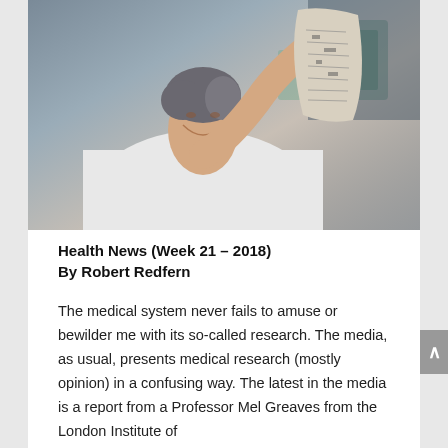[Figure (photo): A scientist in a white lab coat holding up and examining a piece of paper or film strip in a laboratory setting.]
Health News (Week 21 – 2018)
By Robert Redfern
The medical system never fails to amuse or bewilder me with its so-called research. The media, as usual, presents medical research (mostly opinion) in a confusing way. The latest in the media is a report from a Professor Mel Greaves from the London Institute of